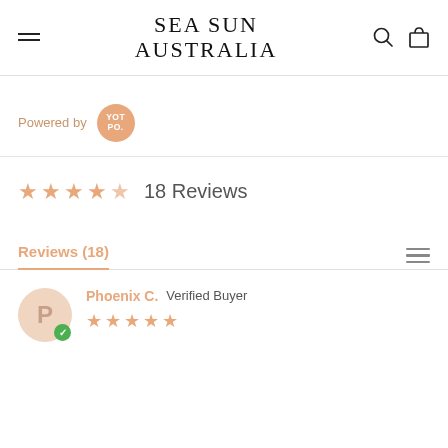SEA SUN AUSTRALIA
Powered by YOTPO
★★★★☆ 18 Reviews
Reviews (18)
Phoenix C. Verified Buyer ★★★★★